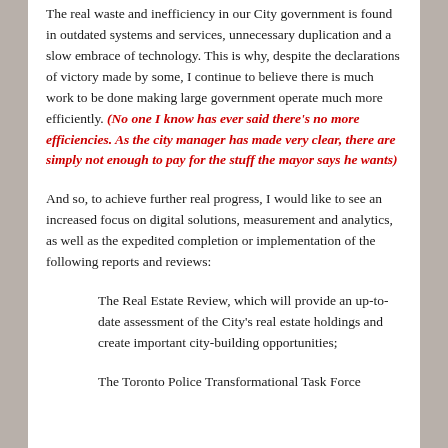The real waste and inefficiency in our City government is found in outdated systems and services, unnecessary duplication and a slow embrace of technology. This is why, despite the declarations of victory made by some, I continue to believe there is much work to be done making large government operate much more efficiently. (No one I know has ever said there's no more efficiencies. As the city manager has made very clear, there are simply not enough to pay for the stuff the mayor says he wants)
And so, to achieve further real progress, I would like to see an increased focus on digital solutions, measurement and analytics, as well as the expedited completion or implementation of the following reports and reviews:
The Real Estate Review, which will provide an up-to-date assessment of the City's real estate holdings and create important city-building opportunities;
The Toronto Police Transformational Task Force